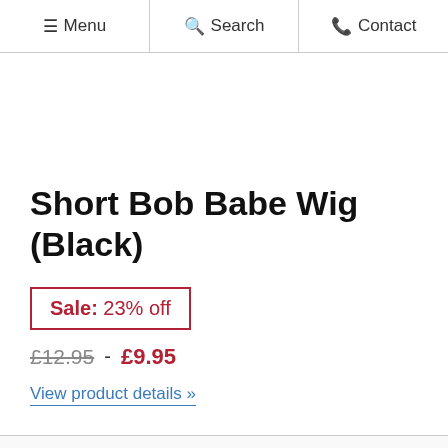Menu  Search  Contact
Short Bob Babe Wig (Black)
Sale: 23% off
£12.95 - £9.95
View product details »